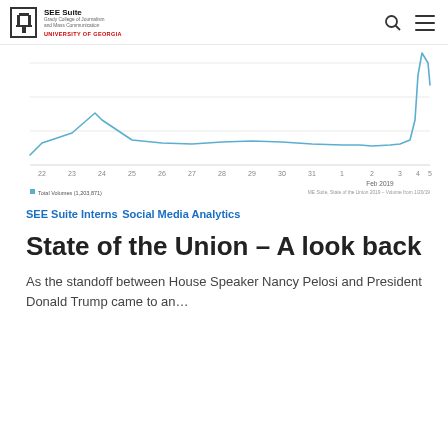SEE Suite | Grady College of Journalism and Mass Communication | UNIVERSITY OF GEORGIA
[Figure (line-chart): Line chart showing social media volume over time from late January to early February 2019, with a sharp spike near Feb 4-5. X-axis shows dates from ~22 Jan to ~5 Feb 2019. Y-axis unlabeled. Legend: Total Volumes (1,203,871). Data source: ME Suite, State of the Union 2019 - Volume from 1/20/19.]
SEE Suite Interns
Social Media Analytics
State of the Union – A look back
As the standoff between House Speaker Nancy Pelosi and President Donald Trump came to an...